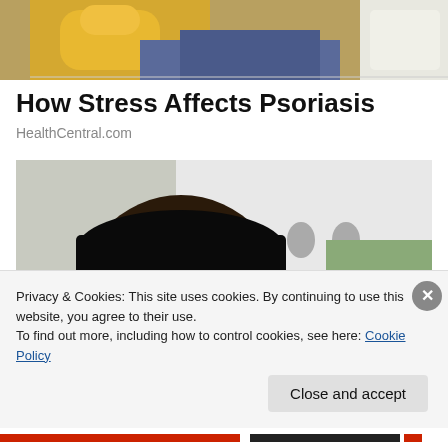[Figure (photo): Partial photo at top of page showing yellow stuffed animal and blue jeans, cropped]
How Stress Affects Psoriasis
HealthCentral.com
[Figure (photo): Photo of a smiling Black man wearing sunglasses and a black cap, with a young child with a pink bow behind him, outdoors near a white structure]
Privacy & Cookies: This site uses cookies. By continuing to use this website, you agree to their use.
To find out more, including how to control cookies, see here: Cookie Policy
Close and accept